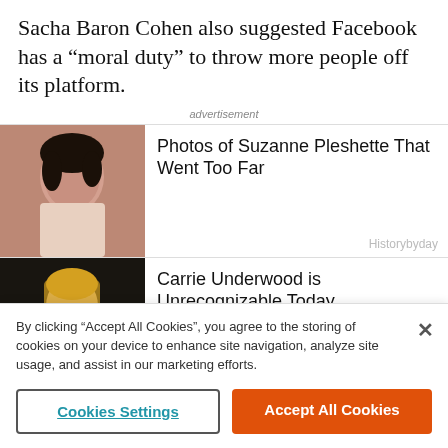Sacha Baron Cohen also suggested Facebook has a “moral duty” to throw more people off its platform.
advertisement
[Figure (photo): Photo of Suzanne Pleshette, woman with short dark hair]
Photos of Suzanne Pleshette That Went Too Far
Historybyday
[Figure (photo): Photo of Carrie Underwood, woman with long blonde hair in floral dress]
Carrie Underwood is Unrecognizable Today
Livingmgz
[Figure (photo): Black and white photo of a couple, young woman and man in tuxedo]
He Was Cheating on His Wife with a 14-Year-Old
Livingmgz
[Figure (photo): Partial photo, dark, partially cut off]
Mila Kunis And Ashton
By clicking “Accept All Cookies”, you agree to the storing of cookies on your device to enhance site navigation, analyze site usage, and assist in our marketing efforts.
Cookies Settings
Accept All Cookies